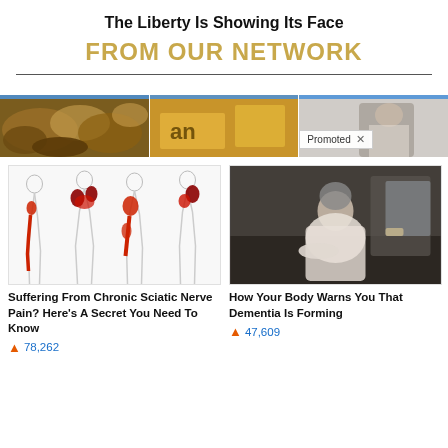The Liberty Is Showing Its Face
FROM OUR NETWORK
[Figure (photo): Three banner thumbnail images: bread/grains, a yellow/gold background with numbers, and a dark/gray room with a person]
[Figure (illustration): Medical illustration showing four human figures with sciatic nerve pain highlighted in red along legs and hips]
Suffering From Chronic Sciatic Nerve Pain? Here's A Secret You Need To Know
🔥 78,262
[Figure (photo): Photo of an elderly person sitting on a bed in a dimly lit room, hunched over]
How Your Body Warns You That Dementia Is Forming
🔥 47,609